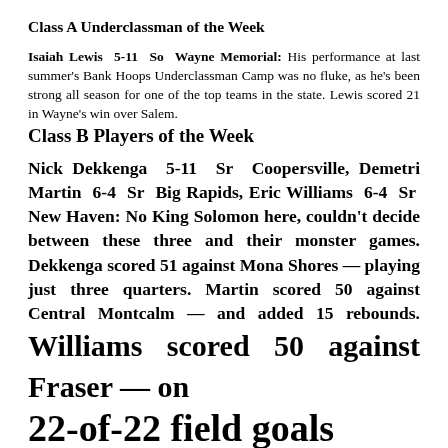Class A Underclassman of the Week
Isaiah Lewis 5-11 So Wayne Memorial: His performance at last summer's Bank Hoops Underclassman Camp was no fluke, as he's been strong all season for one of the top teams in the state. Lewis scored 21 in Wayne's win over Salem.
Class B Players of the Week
Nick Dekkenga 5-11 Sr Coopersville, Demetri Martin 6-4 Sr Big Rapids, Eric Williams 6-4 Sr New Haven: No King Solomon here, couldn't decide between these three and their monster games. Dekkenga scored 51 against Mona Shores — playing just three quarters. Martin scored 50 against Central Montcalm — and added 15 rebounds. Williams scored 50 against Fraser — on 22-of-22 field goals...